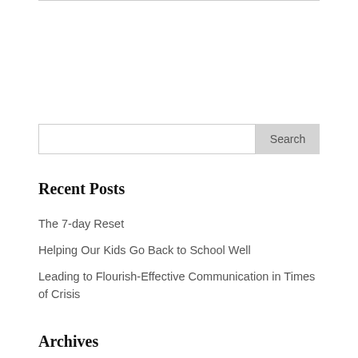[Figure (other): Search input field with Search button]
Recent Posts
The 7-day Reset
Helping Our Kids Go Back to School Well
Leading to Flourish-Effective Communication in Times of Crisis
Archives